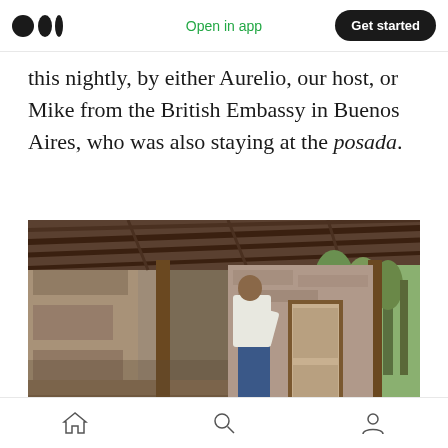Open in app  Get started
this nightly, by either Aurelio, our host, or Mike from the British Embassy in Buenos Aires, who was also staying at the posada.
[Figure (photo): A person in a white shirt and jeans standing inside a rustic adobe/mud-brick structure with wooden beam roof, looking toward a wooden door, with green trees visible outside to the right.]
Home  Search  Profile